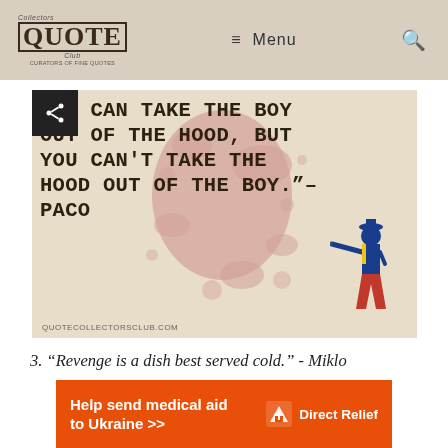Collectors Quote Club — Menu (navigation)
[Figure (illustration): Quote image with bold monospace text on beige background with red ink splatter and illustrated shooter figure. Text: YOU CAN TAKE THE BOY OUT OF THE HOOD, BUT YOU CAN'T TAKE THE HOOD OUT OF THE BOY. -PACO. Watermark: QUOTECOLLECTORSCLUB.COM]
3. “Revenge is a dish best served cold.” - Miklo
[Figure (infographic): Orange Direct Relief advertisement banner: Help send medical aid to Ukraine >>]